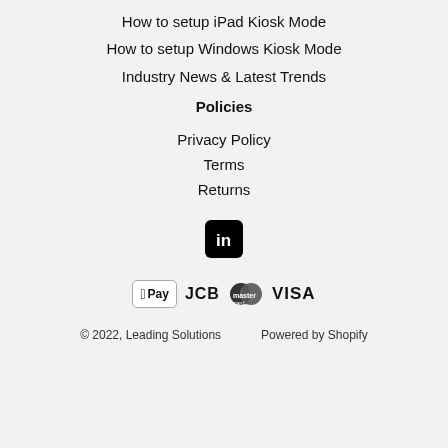How to setup iPad Kiosk Mode
How to setup Windows Kiosk Mode
Industry News & Latest Trends
Policies
Privacy Policy
Terms
Returns
[Figure (logo): LinkedIn logo icon — white 'in' on black rounded-square background]
[Figure (logo): Payment method icons: Apple Pay, JCB, Mastercard, VISA]
© 2022, Leading Solutions    Powered by Shopify